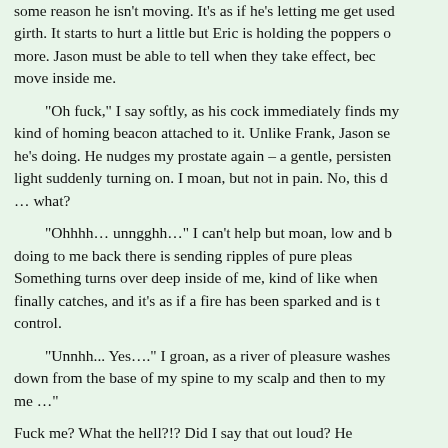some reason he isn't moving. It's as if he's letting me get used to the girth. It starts to hurt a little but Eric is holding the poppers out once more. Jason must be able to tell when they take effect, because he begin to move inside me.
"Oh fuck," I say softly, as his cock immediately finds my prostate, like a kind of homing beacon attached to it. Unlike Frank, Jason seems to know what he's doing. He nudges my prostate again – a gentle, persistent pressure – like a light suddenly turning on. I moan, but not in pain. No, this d… … what?
"Ohhhh… unngghh…" I can't help but moan, low and breathless. What he's doing to me back there is sending ripples of pure pleasure through my body. Something turns over deep inside of me, kind of like when an engine turns and finally catches, and it's as if a fire has been sparked and is threatening to run out of control.
"Unnhh... Yes…." I groan, as a river of pleasure washes up and then back down from the base of my spine to my scalp and then to my toes. "Fuck me …"
Fuck me? What the hell?!? Did I say that out loud? He responds by unerringly hitting that sweet spot and eliciting another groan of pleasure from me.
"That's it," Jason says softly. "Just let it come out."